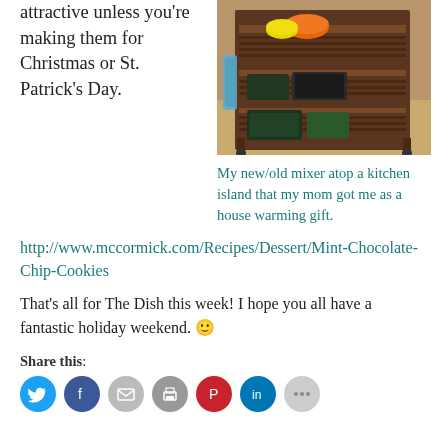attractive unless you're making them for Christmas or St. Patrick's Day.
[Figure (photo): A wooden kitchen island on wheels with colorful bowls and dark baking pans on multiple shelves.]
My new/old mixer atop a kitchen island that my mom got me as a house warming gift.
http://www.mccormick.com/Recipes/Dessert/Mint-Chocolate-Chip-Cookies
That's all for The Dish this week! I hope you all have a fantastic holiday weekend. 🙂
Share this:
[Figure (infographic): Row of social sharing icon buttons: Twitter (blue), Facebook (dark blue), email (gray), print (gray), Pinterest (red), LinkedIn (blue), more (light gray).]